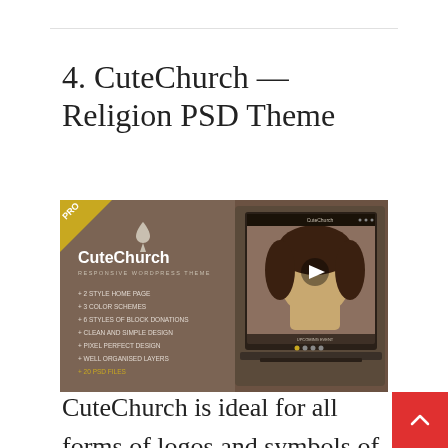4. CuteChurch — Religion PSD Theme
[Figure (screenshot): Screenshot of the CuteChurch Responsive WordPress Theme promotional banner showing a laptop mockup with a praying person image, listing features: 2 style home page, 3 color schemes, 6 styles of block donations, clean and simple design, pixel perfect design, well organised layers, 20 PSD files. A yellow PRO badge in top-left corner.]
CuteChurch is ideal for all forms of logos and symbols of churches. A lovely